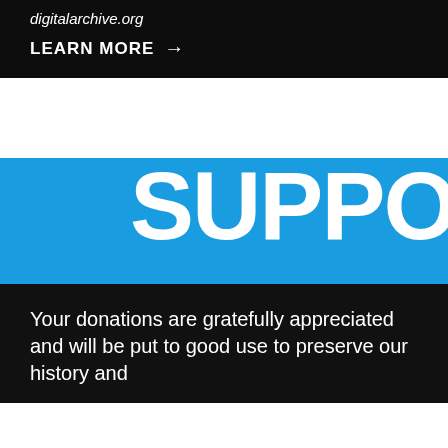digitalarchive.org
LEARN MORE →
SUPPORT
Your donations are gratefully appreciated and will be put to good use to preserve our history and